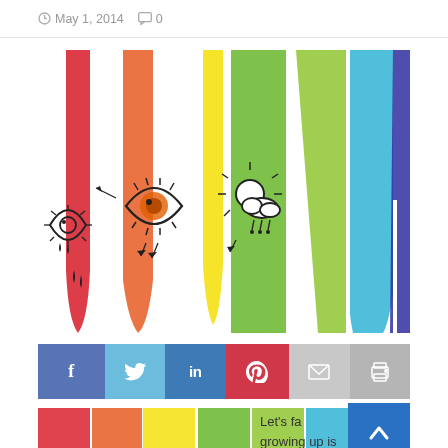May 1, 2014  0
[Figure (illustration): Colorful rainbow-striped paint drips falling vertically (red, orange, yellow, green, light green, cyan, blue, purple) with doodle illustrations of an eye with tears, a starburst eye, and a sun with clouds and raindrops drawn in black ink on white background between the drips.]
[Figure (infographic): Social sharing bar with icons for Facebook (f), Twitter (bird), LinkedIn (in), Pinterest (p), Email (envelope), and Print (printer) in colored boxes.]
[Figure (illustration): Partial bottom rainbow-striped illustration similar to the main image above, cropped.]
Let's fa growing up is